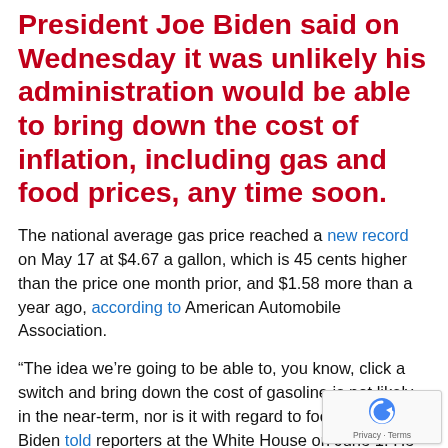President Joe Biden said on Wednesday it was unlikely his administration would be able to bring down the cost of inflation, including gas and food prices, any time soon.
The national average gas price reached a new record on May 17 at $4.67 a gallon, which is 45 cents higher than the price one month prior, and $1.58 more than a year ago, according to American Automobile Association.
“The idea we’re going to be able to, you know, click a switch and bring down the cost of gasoline is not likely in the near-term, nor is it with regard to food,” Biden told reporters at the White House on June 1. He cited the war in Ukraine that has trapped the country’s wheat exports as an external cause for inflation.